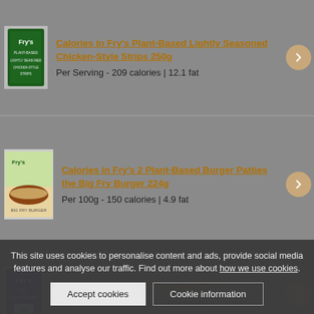[Figure (photo): Product image of Fry's Plant-Based Lightly Seasoned Chicken-Style Strips 250g package]
Calories in Fry's Plant-Based Lightly Seasoned Chicken-Style Strips 250g
Per Serving - 209 calories | 12.1 fat
[Figure (photo): Product image of Fry's 2 Plant-Based Burger Patties the Big Fry Burger 224g package]
Calories in Fry's 2 Plant-Based Burger Patties the Big Fry Burger 224g
Per 100g - 150 calories | 4.9 fat
[Figure (photo): Product image of Fry's Hot Chocolate 450g package]
Calories in Fry's Hot Chocolate 450g
Per 3 Teaspoons (as sold) - 70 calories
This site uses cookies to personalise content and ads, provide social media features and analyse our traffic. Find out more about how we use cookies.